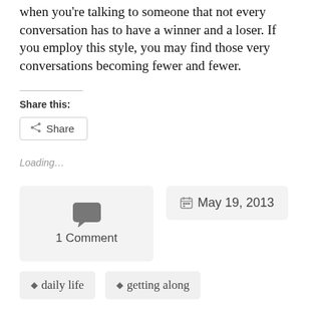when you're talking to someone that not every conversation has to have a winner and a loser. If you employ this style, you may find those very conversations becoming fewer and fewer.
Share this:
Share
Loading...
1 Comment
May 19, 2013
daily life
getting along